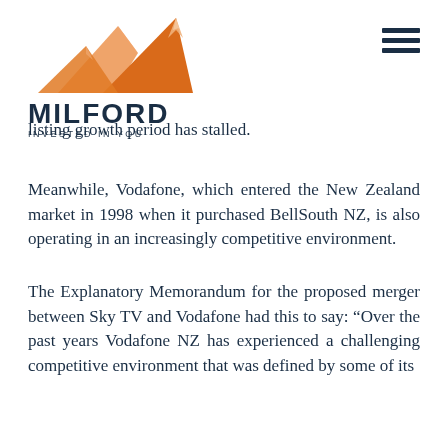[Figure (logo): Milford Asset Management logo with mountain graphic, text MILFORD and tagline INVESTED IN YOU]
listing growth period has stalled.
Meanwhile, Vodafone, which entered the New Zealand market in 1998 when it purchased BellSouth NZ, is also operating in an increasingly competitive environment.
The Explanatory Memorandum for the proposed merger between Sky TV and Vodafone had this to say: “Over the past years Vodafone NZ has experienced a challenging competitive environment that was defined by some of its